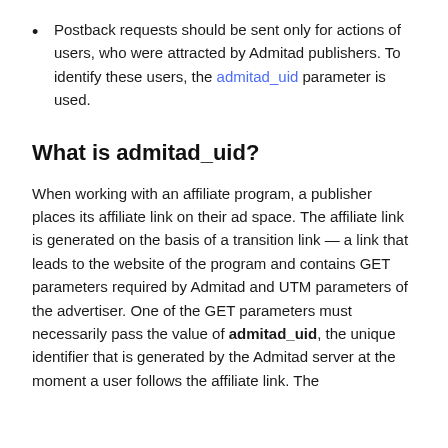Postback requests should be sent only for actions of users, who were attracted by Admitad publishers. To identify these users, the admitad_uid parameter is used.
What is admitad_uid?
When working with an affiliate program, a publisher places its affiliate link on their ad space. The affiliate link is generated on the basis of a transition link — a link that leads to the website of the program and contains GET parameters required by Admitad and UTM parameters of the advertiser. One of the GET parameters must necessarily pass the value of admitad_uid, the unique identifier that is generated by the Admitad server at the moment a user follows the affiliate link. The